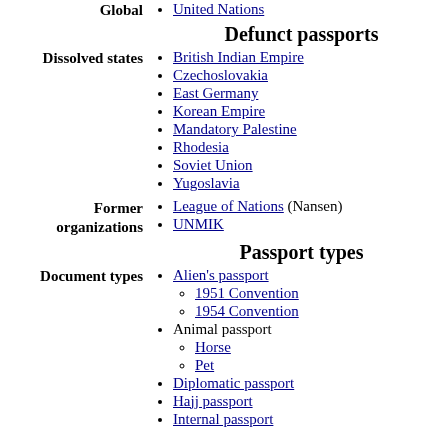Global — United Nations
Defunct passports
Dissolved states — British Indian Empire, Czechoslovakia, East Germany, Korean Empire, Mandatory Palestine, Rhodesia, Soviet Union, Yugoslavia
Former organizations — League of Nations (Nansen), UNMIK
Passport types
Document types — Alien's passport, 1951 Convention, 1954 Convention, Animal passport, Horse, Pet, Diplomatic passport, Hajj passport, Internal passport